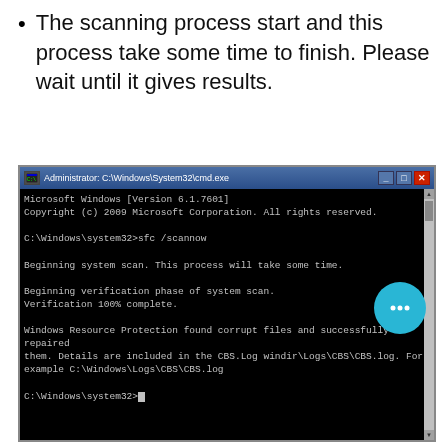The scanning process start and this process take some time to finish. Please wait until it gives results.
[Figure (screenshot): Windows Command Prompt (Administrator: C:\Windows\System32\cmd.exe) showing the output of 'sfc /scannow': Microsoft Windows [Version 6.1.7601], Copyright (c) 2009 Microsoft Corporation. All rights reserved. C:\Windows\system32>sfc /scannow. Beginning system scan. This process will take some time. Beginning verification phase of system scan. Verification 100% complete. Windows Resource Protection found corrupt files and successfully repaired them. Details are included in the CBS.Log windir\Logs\CBS\CBS.log. For example C:\Windows\Logs\CBS\CBS.log. C:\Windows\system32>_ A teal chat bubble icon is overlaid on the right side.]